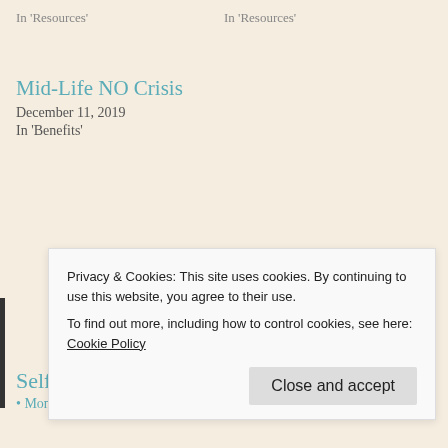In 'Resources'
In 'Resources'
Mid-Life NO Crisis
December 11, 2019
In 'Benefits'
Privacy & Cookies: This site uses cookies. By continuing to use this website, you agree to their use.
To find out more, including how to control cookies, see here: Cookie Policy
Close and accept
Self-care, tips, tools
Monitoring Health with Biofeedback